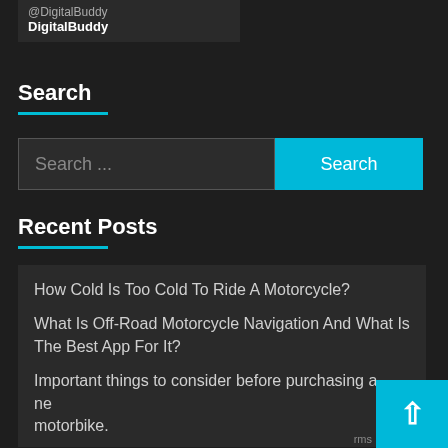[Figure (screenshot): Dark sidebar widget showing site name 'DigitalBuddy' with a label above it]
Search
[Figure (screenshot): Search input field with placeholder 'Search ...' and a cyan 'Search' button]
Recent Posts
How Cold Is Too Cold To Ride A Motorcycle?
What Is Off-Road Motorcycle Navigation And What Is The Best App For It?
Important things to consider before purchasing a new motorbike.